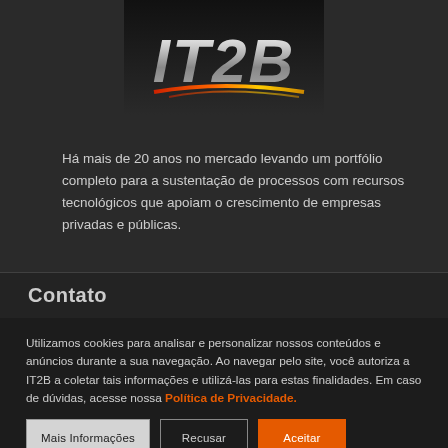[Figure (logo): IT2B company logo with silver metallic text and orange/yellow swoosh underneath on dark background]
Há mais de 20 anos no mercado levando um portfólio completo para a sustentação de processos com recursos tecnológicos que apoiam o crescimento de empresas privadas e públicas.
Contato
Utilizamos cookies para analisar e personalizar nossos conteúdos e anúncios durante a sua navegação. Ao navegar pelo site, você autoriza a IT2B a coletar tais informações e utilizá-las para estas finalidades. Em caso de dúvidas, acesse nossa Política de Privacidade.